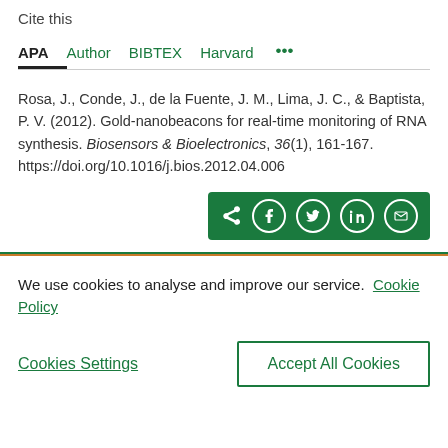Cite this
APA  Author  BIBTEX  Harvard  •••
Rosa, J., Conde, J., de la Fuente, J. M., Lima, J. C., & Baptista, P. V. (2012). Gold-nanobeacons for real-time monitoring of RNA synthesis. Biosensors & Bioelectronics, 36(1), 161-167. https://doi.org/10.1016/j.bios.2012.04.006
We use cookies to analyse and improve our service. Cookie Policy
Cookies Settings
Accept All Cookies